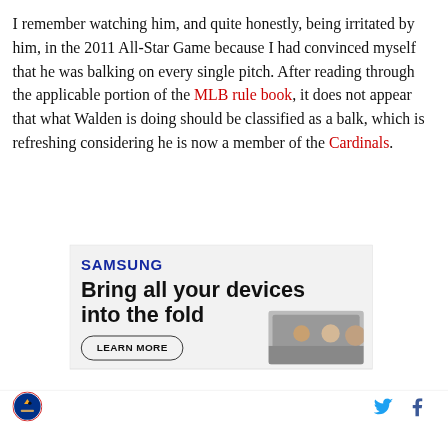I remember watching him, and quite honestly, being irritated by him, in the 2011 All-Star Game because I had convinced myself that he was balking on every single pitch. After reading through the applicable portion of the MLB rule book, it does not appear that what Walden is doing should be classified as a balk, which is refreshing considering he is now a member of the Cardinals.
[Figure (other): Samsung advertisement reading 'SAMSUNG' logo in blue, 'Bring all your devices into the fold' tagline, a 'LEARN MORE' button, and a partial image of a foldable phone]
[Figure (logo): Cardinals team logo (bird on bat) in a circular badge, bottom left of page footer]
[Figure (other): Twitter bird icon and Facebook 'f' icon in the page footer, bottom right area]